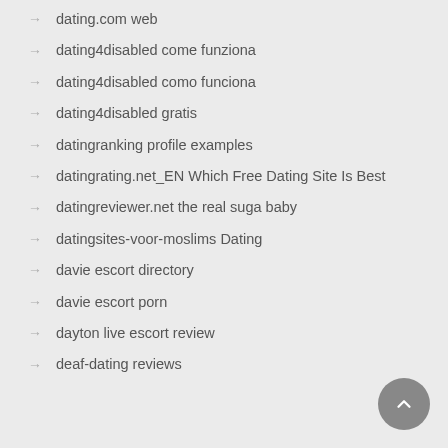dating.com web
dating4disabled come funziona
dating4disabled como funciona
dating4disabled gratis
datingranking profile examples
datingrating.net_EN Which Free Dating Site Is Best
datingreviewer.net the real suga baby
datingsites-voor-moslims Dating
davie escort directory
davie escort porn
dayton live escort review
deaf-dating reviews